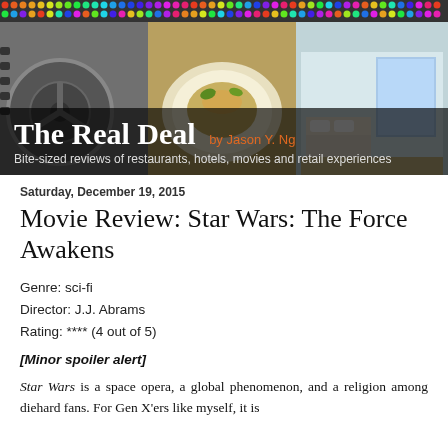[Figure (illustration): Header banner for 'The Real Deal' blog by Jason Y. Ng, showing colorful dot pattern at top, film reel, food dish, and hotel room panels with a dark overlay containing the blog title and subtitle 'Bite-sized reviews of restaurants, hotels, movies and retail experiences']
Saturday, December 19, 2015
Movie Review: Star Wars: The Force Awakens
Genre: sci-fi
Director: J.J. Abrams
Rating: **** (4 out of 5)
[Minor spoiler alert]
Star Wars is a space opera, a global phenomenon, and a religion among diehard fans. For Gen X'ers like myself, it is